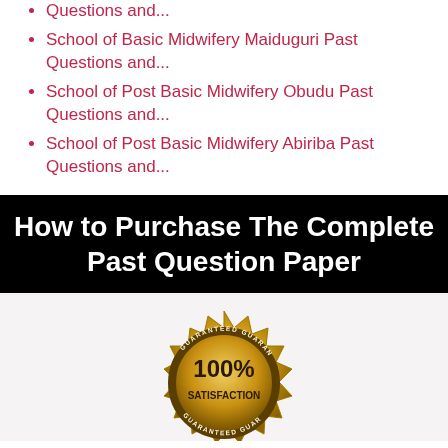Questions and...
School of Basic Midwifery Maiduguri Past Questions and...
School of Post Basic Midwifery Obudu Past Questions and...
School of Post Basic Midwifery Abiriba Past Questions and...
How to Purchase The Complete Past Question Paper
[Figure (illustration): Gold badge with text 100% SATISFACTION GUARANTEED repeated around the border]